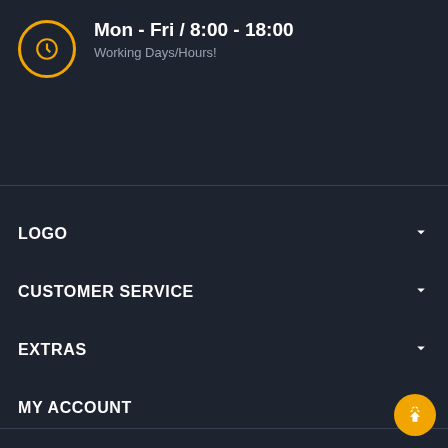[Figure (illustration): Clock icon circle with orange border and clock face symbol]
Mon - Fri / 8:00 - 18:00
Working Days/Hours!
LOGO
CUSTOMER SERVICE
EXTRAS
MY ACCOUNT